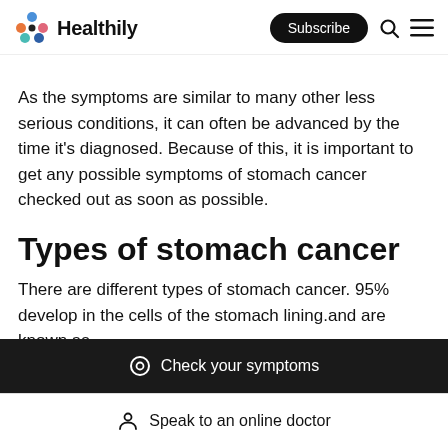Healthily — Subscribe
As the symptoms are similar to many other less serious conditions, it can often be advanced by the time it's diagnosed. Because of this, it is important to get any possible symptoms of stomach cancer checked out as soon as possible.
Types of stomach cancer
There are different types of stomach cancer. 95% develop in the cells of the stomach lining.and are known as
Check your symptoms
Speak to an online doctor